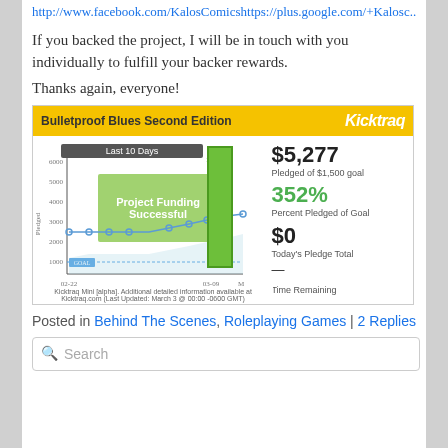http://www.facebook.com/KalosComicshttps://plus.google.com/+Kalosc...
If you backed the project, I will be in touch with you individually to fulfill your backer rewards.
Thanks again, everyone!
[Figure (continuous-plot): Kickstarter funding widget for Bulletproof Blues Second Edition showing a line chart of pledge amounts over time (02-22 to 03-09), with a green vertical bar and overlay text 'Project Funding Successful'. Stats show $5,277 pledged of $1,500 goal (352%), $0 Today's Pledge Total, Time Remaining: —]
Posted in Behind The Scenes, Roleplaying Games | 2 Replies
Search